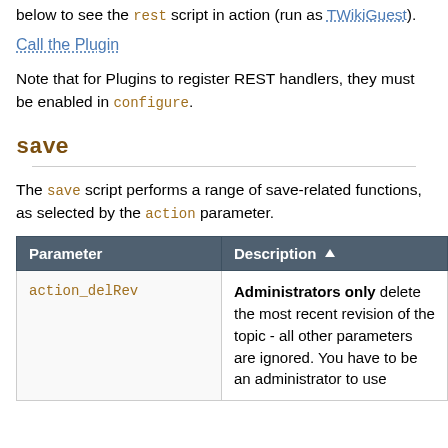below to see the rest script in action (run as TWikiGuest).
Call the Plugin
Note that for Plugins to register REST handlers, they must be enabled in configure.
save
The save script performs a range of save-related functions, as selected by the action parameter.
| Parameter | Description |
| --- | --- |
| action_delRev | Administrators only delete the most recent revision of the topic - all other parameters are ignored. You have to be an administrator to use |